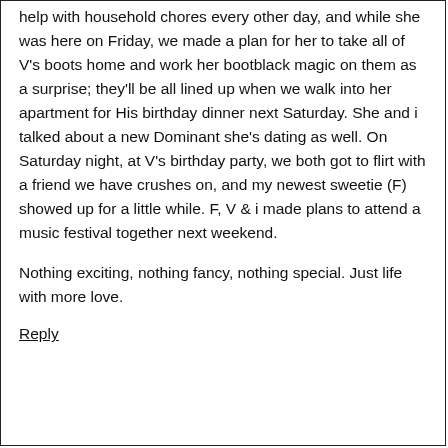help with household chores every other day, and while she was here on Friday, we made a plan for her to take all of V's boots home and work her bootblack magic on them as a surprise; they'll be all lined up when we walk into her apartment for His birthday dinner next Saturday. She and i talked about a new Dominant she's dating as well. On Saturday night, at V's birthday party, we both got to flirt with a friend we have crushes on, and my newest sweetie (F) showed up for a little while. F, V & i made plans to attend a music festival together next weekend.
Nothing exciting, nothing fancy, nothing special. Just life with more love.
Reply